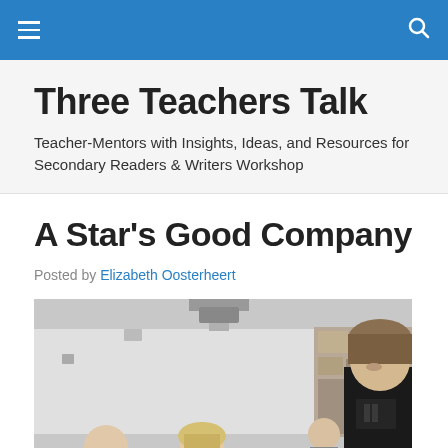Navigation bar with menu and search icons
Three Teachers Talk
Teacher-Mentors with Insights, Ideas, and Resources for Secondary Readers & Writers Workshop
A Star's Good Company
Posted by Elizabeth Oosterheert
[Figure (photo): Black and white photograph of students in a classroom, with a projector mounted on the ceiling. A teenage boy in a black t-shirt stands looking down on the right, and two other students (a girl and a boy) are visible in the lower left foreground.]